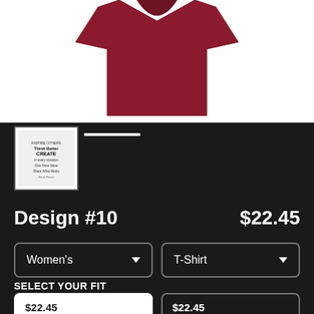[Figure (photo): Product photo showing a dark red/maroon t-shirt on white background]
[Figure (thumbnail): Small thumbnail of t-shirt design with text]
Design #10
$22.45
Women's
T-Shirt
SELECT YOUR FIT
$22.45
Fitted
$22.45
Regular Unisex